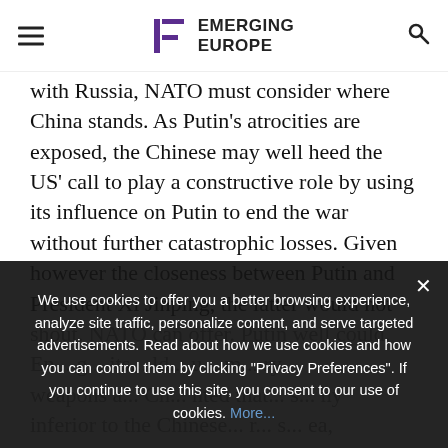Emerging Europe
with Russia, NATO must consider where China stands. As Putin's atrocities are exposed, the Chinese may well heed the US' call to play a constructive role by using its influence on Putin to end the war without further catastrophic losses. Given however the closeness between Putin and President Xi Jinping, the latter would not ... NATO can offer ... weapons ... inferior to the Chinese ... and given Russia's considerable losses, Putin may resort out of desperation to using tactical nuclear weapons which is the mother of all catastrophes. This is the worst
We use cookies to offer you a better browsing experience, analyze site traffic, personalize content, and serve targeted advertisements. Read about how we use cookies and how you can control them by clicking "Privacy Preferences". If you continue to use this site, you consent to our use of cookies. More...